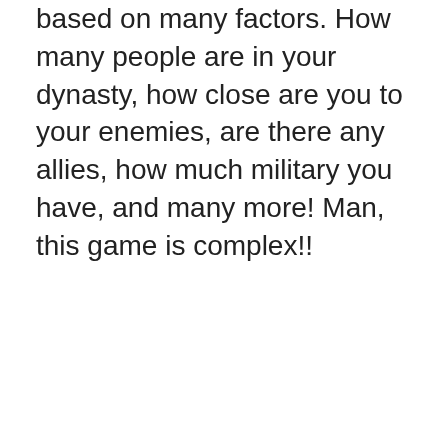based on many factors. How many people are in your dynasty, how close are you to your enemies, are there any allies, how much military you have, and many more! Man, this game is complex!!